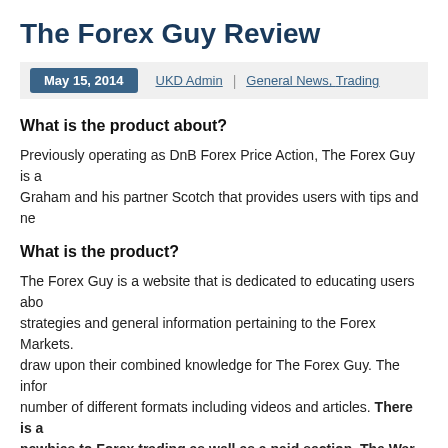The Forex Guy Review
May 15, 2014  UKD Admin  |  General News, Trading
What is the product about?
Previously operating as DnB Forex Price Action, The Forex Guy is a... Graham and his partner Scotch that provides users with tips and ne...
What is the product?
The Forex Guy is a website that is dedicated to educating users abo... strategies and general information pertaining to the Forex Markets. ... draw upon their combined knowledge for The Forex Guy. The inform... number of different formats including videos and articles. There is a... newbies to Forex trading as well as a paid section, The War Ro... traders. It is this paid section that is the core of The Forex Guy. It is... Scotch share their own trading methods in the form of The Price Ac... Course. They also provide a large number of special features includ... which dissects a trading chart over the course of a week pointing ou... cause and effect as well as a number of chat rooms with other trade...